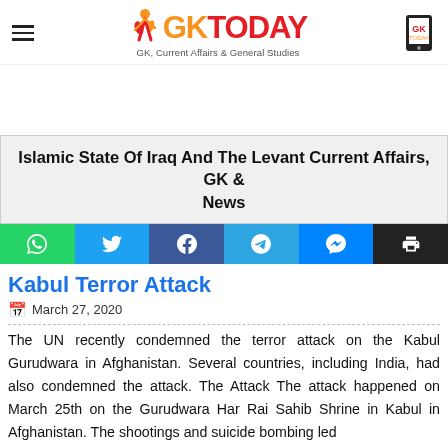GKTODAY — GK, Current Affairs & General Studies
Islamic State Of Iraq And The Levant Current Affairs, GK & News
Kabul Terror Attack
March 27, 2020
The UN recently condemned the terror attack on the Kabul Gurudwara in Afghanistan. Several countries, including India, had also condemned the attack. The Attack The attack happened on March 25th on the Gurudwara Har Rai Sahib Shrine in Kabul in Afghanistan. The shootings and suicide bombing led